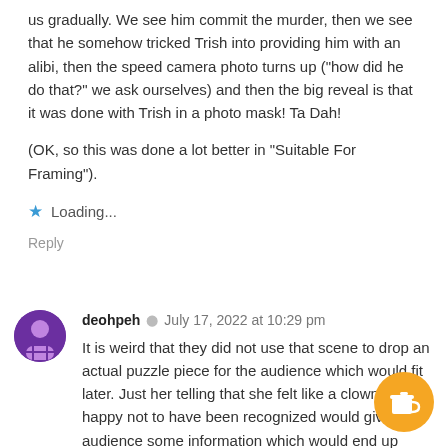us gradually. We see him commit the murder, then we see that he somehow tricked Trish into providing him with an alibi, then the speed camera photo turns up ("how did he do that?" we ask ourselves) and then the big reveal is that it was done with Trish in a photo mask! Ta Dah!

(OK, so this was done a lot better in "Suitable For Framing").
Loading...
Reply
deohpeh · July 17, 2022 at 10:29 pm
It is weird that they did not use that scene to drop an actual puzzle piece for the audience which would fit later. Just her telling that she felt like a clown and is happy not to have been recognized would give the audience some information which would end up giving a moment where the piece suddenly fits.
It is that lack of love in the screenplays which new episodes suffer. It seems like they are looking